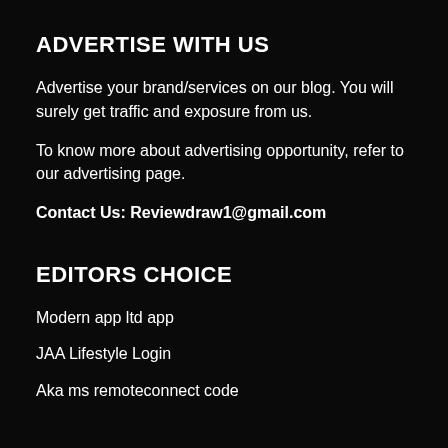ADVERTISE WITH US
Advertise your brand/services on our blog. You will surely get traffic and exposure from us.
To know more about advertising opportunity, refer to our advertising page.
Contact Us: Reviewdraw1@gmail.com
EDITORS CHOICE
Modern app ltd app
JAA Lifestyle Login
Aka ms remoteconnect code